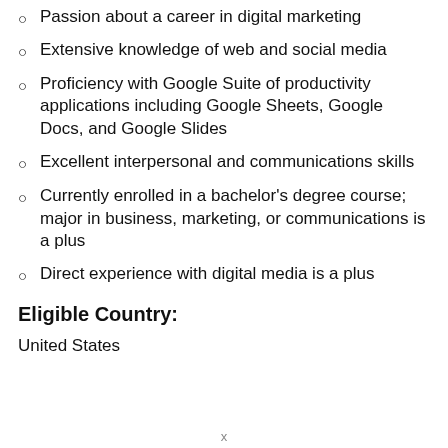Passion about a career in digital marketing
Extensive knowledge of web and social media
Proficiency with Google Suite of productivity applications including Google Sheets, Google Docs, and Google Slides
Excellent interpersonal and communications skills
Currently enrolled in a bachelor's degree course; major in business, marketing, or communications is a plus
Direct experience with digital media is a plus
Eligible Country:
United States
x